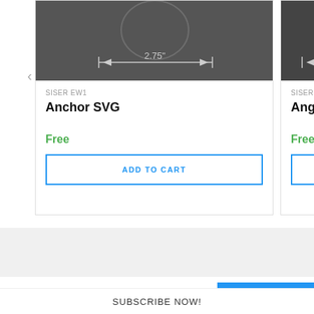[Figure (photo): Product image of Anchor SVG with 2.75 inch width measurement indicated by arrows on dark gray background]
SISER EW1
Anchor SVG
Free
ADD TO CART
[Figure (photo): Partially visible product image on dark gray background with measurement arrow]
SISER EW1
Angel Wing...
Free
Sea Turtle SVG
ADD TO
SUBSCRIBE NOW!